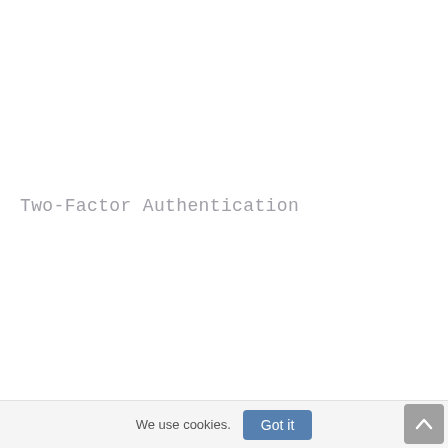Two-Factor Authentication
We use cookies.
Got it